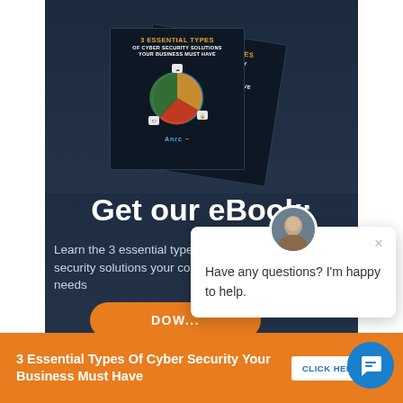[Figure (illustration): Dark-background eBook promotional image showing two overlapping book covers titled '3 Essential Types of Cyber Security Solutions Your Business Must Have' with a colorful circular icon diagram in the center]
Get our eBook:
Learn the 3 essential types of cyber security solutions your company needs
DOWNLOAD
[Figure (illustration): Chat popup overlay with avatar photo and message: Have any questions? I'm happy to help.]
Have any questions? I'm happy to help.
3 Essential Types Of Cyber Security Your Business Must Have
CLICK HERE!